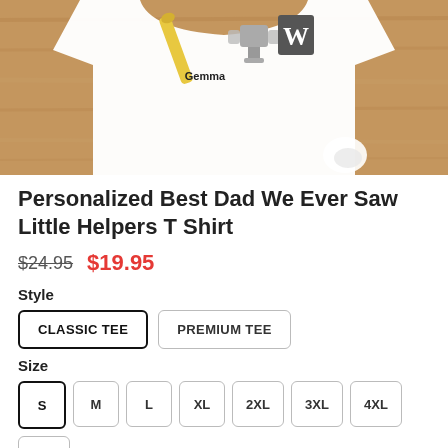[Figure (photo): Product photo of a white t-shirt with a baseball-themed design showing a bat and trophy graphic with the name 'Gemma' printed on it, laid on a wooden surface]
Personalized Best Dad We Ever Saw Little Helpers T Shirt
$24.95  $19.95
Style
CLASSIC TEE  PREMIUM TEE
Size
S  M  L  XL  2XL  3XL  4XL  5XL
Color